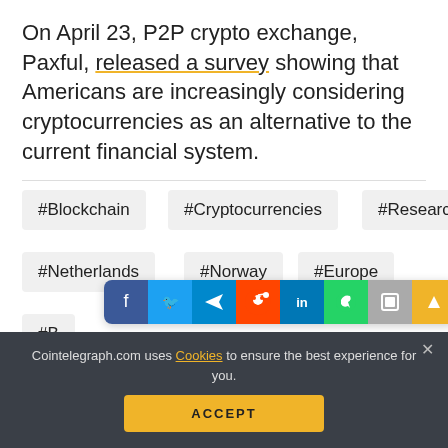On April 23, P2P crypto exchange, Paxful, released a survey showing that Americans are increasingly considering cryptocurrencies as an alternative to the current financial system.
#Blockchain
#Cryptocurrencies
#Research
#Netherlands
#Norway
#Europe
#Survey
#Mainstream
#United Kingdom
Cointelegraph.com uses Cookies to ensure the best experience for you.
RELATED NEWS